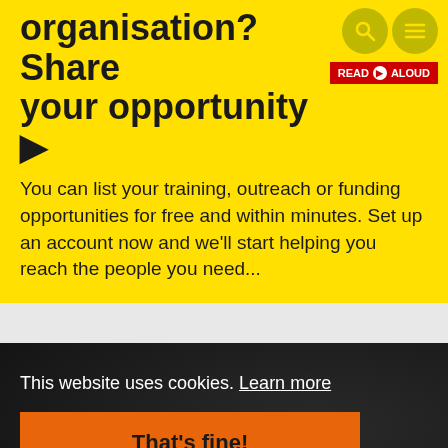organisation? Share your opportunity ▶
[Figure (screenshot): Read Aloud badge in red, and two circular icon buttons (search and menu) on yellow background]
You can list your training, outreach or funding opportunities for free and within minutes. Set up an account now and we'll start helping you reach the people you need...
This website uses cookies. Learn more
That's fine!
[Figure (logo): Social media icons: circular icon, Instagram, Twitter, Facebook, YouTube]